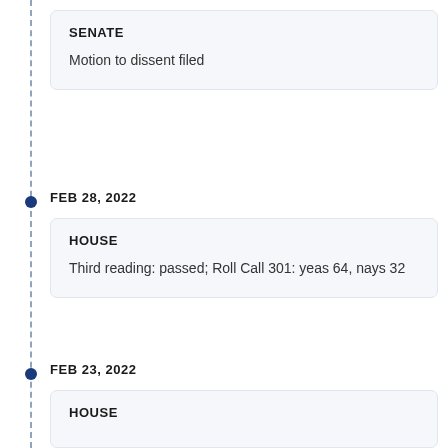SENATE
Motion to dissent filed
FEB 28, 2022
HOUSE
Third reading: passed; Roll Call 301: yeas 64, nays 32
FEB 23, 2022
HOUSE